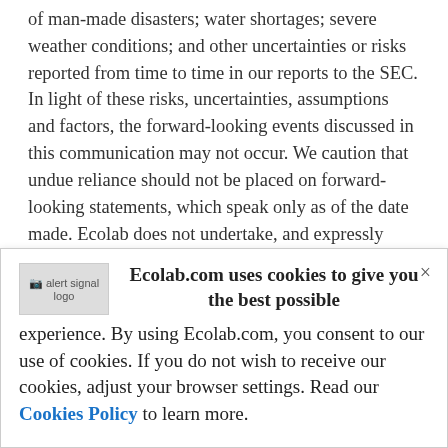or man-made disasters; water shortages; severe weather conditions; and other uncertainties or risks reported from time to time in our reports to the SEC. In light of these risks, uncertainties, assumptions and factors, the forward-looking events discussed in this communication may not occur. We caution that undue reliance should not be placed on forward-looking statements, which speak only as of the date made. Ecolab does not undertake, and expressly disclaims, any duty to update any forward-looking statement whether as a
[Figure (other): Cookie consent dialog overlay with alert signal logo, close button (×), and text about Ecolab.com cookie usage policy including a Cookies Policy link.]